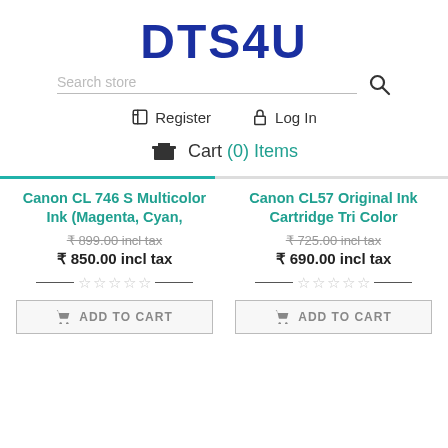DTS4U
Search store
Register  Log In
Cart (0) Items
Canon CL 746 S Multicolor Ink (Magenta, Cyan,
₹899.00 incl tax
₹850.00 incl tax
Canon CL57 Original Ink Cartridge Tri Color
₹725.00 incl tax
₹690.00 incl tax
ADD TO CART
ADD TO CART